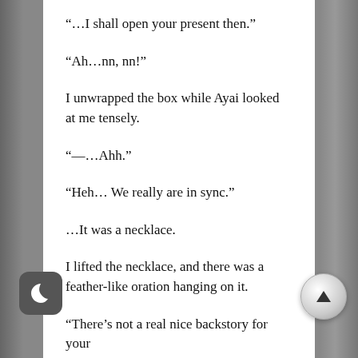“…I shall open your present then.”
“Ah…nn, nn!”
I unwrapped the box while Ayai looked at me tensely.
“—…Ahh.”
“Heh… We really are in sync.”
…It was a necklace.
I lifted the necklace, and there was a feather-like oration hanging on it.
“There’s not a real nice backstory for your